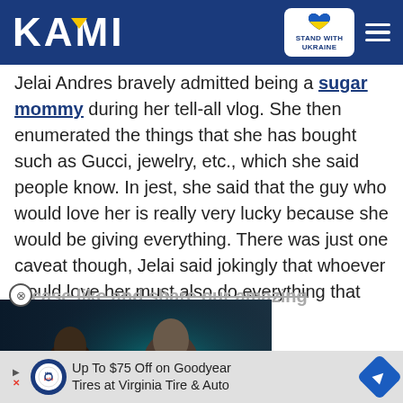KAMI — Stand with Ukraine
Jelai Andres bravely admitted being a sugar mommy during her tell-all vlog. She then enumerated the things that she has bought such as Gucci, jewelry, etc., which she said people know. In jest, she said that the guy who would love her is really very lucky because she would be giving everything. There was just one caveat though, Jelai said jokingly that whoever would love her must also do everything that she says.
Please like and share our amazing Facebook posts to [don't hesitate to comment and] [our stories either. We love] [ts and views on different]
[Figure (screenshot): Video thumbnail overlay showing two women, with play button, caption 'A SINGLE REMARK LED HER TO ADDICTION', and red minimize button with chevron]
Up To $75 Off on Goodyear Tires at Virginia Tire & Auto